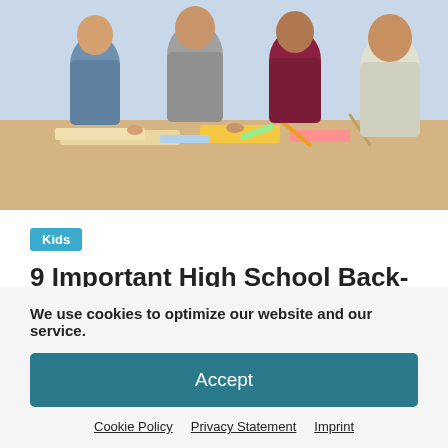[Figure (photo): Students sitting around a table studying together, writing notes, with books and supplies on the table.]
Kids
9 Important High School Back-to-School Essentials
August 2, 2022   ProductIQ   0
The summer is over, and it's time to go back to school. This can be exciting if you're a student.
We use cookies to optimize our website and our service.
Accept
Cookie Policy   Privacy Statement   Imprint